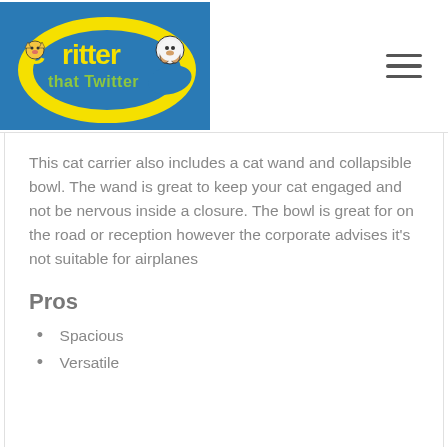[Figure (logo): Critter that Twitter logo — cartoon animals around a yellow oval with 'Critter that Twitter' text on a blue background]
This cat carrier also includes a cat wand and collapsible bowl. The wand is great to keep your cat engaged and not be nervous inside a closure. The bowl is great for on the road or reception however the corporate advises it's not suitable for airplanes
Pros
Spacious
Versatile